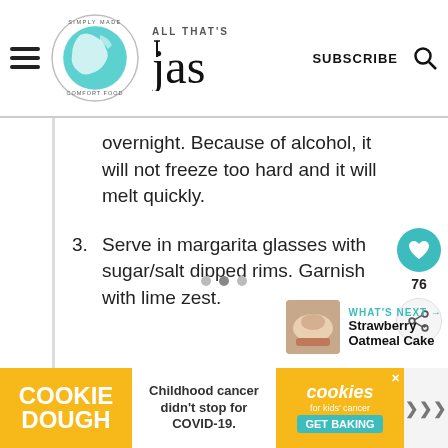[Figure (logo): Website header with hamburger menu, circular globe logo reading 'Simply Made Comfort Food', site title 'ALL THAT'S Jas' in mixed typography, SUBSCRIBE button, and search icon]
overnight. Because of alcohol, it will not freeze too hard and it will melt quickly.
3. Serve in margarita glasses with sugar/salt dipped rims. Garnish with lime zest.
[Figure (screenshot): Floating social action buttons: teal heart button and share button with count 76]
[Figure (infographic): What's Next section showing Strawberry Oatmeal Cake thumbnail with label]
[Figure (infographic): Cookie Dough / Childhood cancer didn't stop for COVID-19 / cookies for kids cancer GET BAKING advertisement banner]